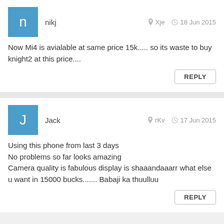nikj — Xje — 18 Jun 2015
Now Mi4 is avialable at same price 15k..... so its waste to buy knight2 at this price....
REPLY
Jack — rKv — 17 Jun 2015
Using this phone from last 3 days
No problems so far looks amazing
Camera quality is fabulous display is shaaandaaarr what else u want in 15000 bucks....... Babaji ka thuulluu
REPLY